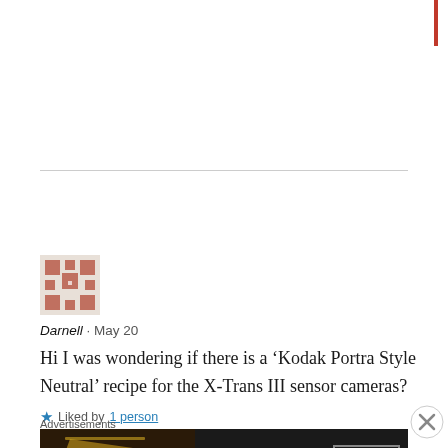[Figure (illustration): Red vertical bar in top-right corner, partial page header indicator]
[Figure (illustration): Horizontal light gray divider line]
[Figure (illustration): User avatar icon — reddish-brown pixel/mosaic style graphic]
Darnell · May 20
Hi I was wondering if there is a ‘Kodak Portra Style Neutral’ recipe for the X-Trans III sensor cameras?
Liked by 1 person
Advertisements
[Figure (screenshot): Seamless food delivery advertisement banner — pizza image on left, red Seamless logo in center, ORDER NOW button on right, dark background]